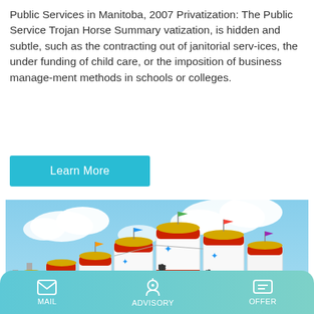Public Services in Manitoba, 2007 Privatization: The Public Service Trojan Horse Summary vatization, is hidden and subtle, such as the contracting out of janitorial serv-ices, the under funding of child care, or the imposition of business manage-ment methods in schools or colleges.
Learn More
[Figure (photo): Industrial silos with Chinese text '中交路建' (China Communications Road Construction), tall white cylindrical storage tanks with red bands and colorful flags on top, against a blue sky with clouds.]
MAIL   ADVISORY   OFFER